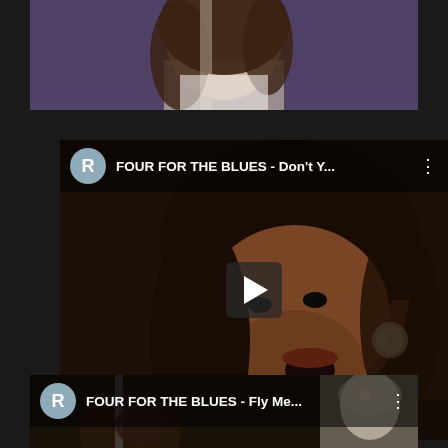[Figure (screenshot): Partial top video card showing a female singer performing, cropped at top of page]
[Figure (screenshot): YouTube-style video card for 'FOUR FOR THE BLUES - Don't Y...' featuring a Black female singer holding a microphone with sparkly jewelry, with play button overlay and R avatar icon]
[Figure (screenshot): YouTube-style video card for 'FOUR FOR THE BLUES - Fly Me...' partially visible at bottom of page, with R avatar icon and Marilyn Monroe poster visible in background]